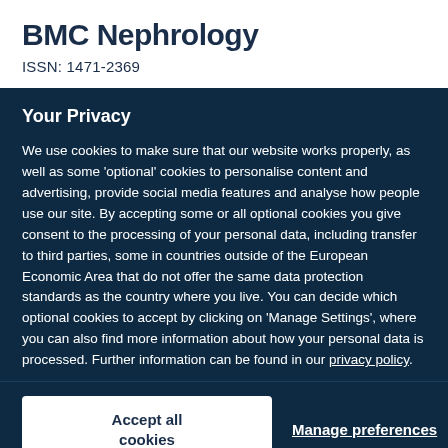BMC Nephrology
ISSN: 1471-2369
Your Privacy
We use cookies to make sure that our website works properly, as well as some 'optional' cookies to personalise content and advertising, provide social media features and analyse how people use our site. By accepting some or all optional cookies you give consent to the processing of your personal data, including transfer to third parties, some in countries outside of the European Economic Area that do not offer the same data protection standards as the country where you live. You can decide which optional cookies to accept by clicking on 'Manage Settings', where you can also find more information about how your personal data is processed. Further information can be found in our privacy policy.
Accept all cookies
Manage preferences